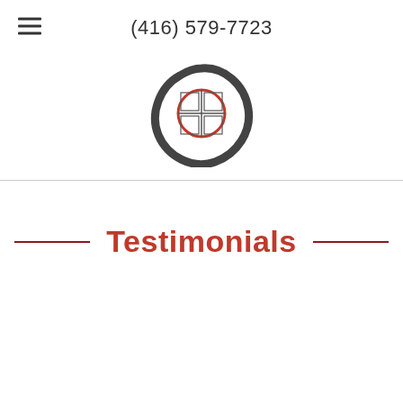(416) 579-7723
[Figure (logo): Circular logo with a red and black enso (zen circle) design containing a grid/window symbol in the center]
Testimonials